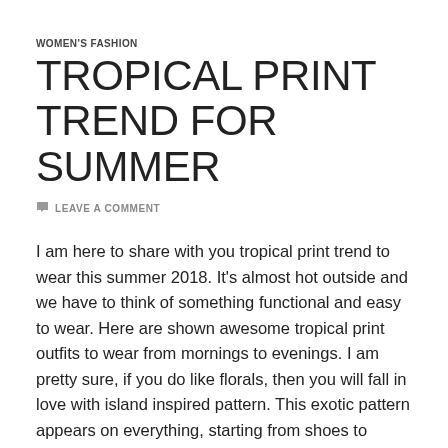WOMEN'S FASHION
TROPICAL PRINT TREND FOR SUMMER
💬 LEAVE A COMMENT
I am here to share with you tropical print trend to wear this summer 2018. It's almost hot outside and we have to think of something functional and easy to wear. Here are shown awesome tropical print outfits to wear from mornings to evenings. I am pretty sure, if you do like florals, then you will fall in love with island inspired pattern. This exotic pattern appears on everything, starting from shoes to skirts, bombers and dresses. Personally, I like to see girls and ladies wearing bright clothes with pineapples, palm leaves and jungle florals.